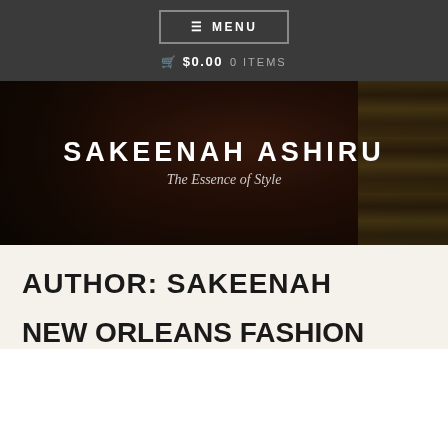≡ MENU
🛒 $0.00  0 ITEMS
[Figure (photo): Dark moody photo of a woman in a red/maroon dress seated near a window with patterned curtains. Overlaid with white text: SAKEENAH ASHIRU – The Essence of Style.]
SAKEENAH ASHIRU
The Essence of Style
AUTHOR: SAKEENAH
NEW ORLEANS FASHION